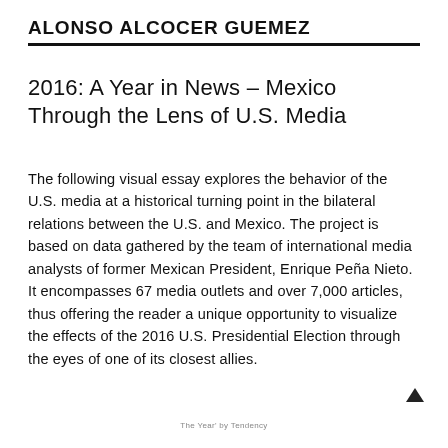ALONSO ALCOCER GUEMEZ
2016: A Year in News – Mexico Through the Lens of U.S. Media
The following visual essay explores the behavior of the U.S. media at a historical turning point in the bilateral relations between the U.S. and Mexico. The project is based on data gathered by the team of international media analysts of former Mexican President, Enrique Peña Nieto. It encompasses 67 media outlets and over 7,000 articles, thus offering the reader a unique opportunity to visualize the effects of the 2016 U.S. Presidential Election through the eyes of one of its closest allies.
The Year' by Tendency